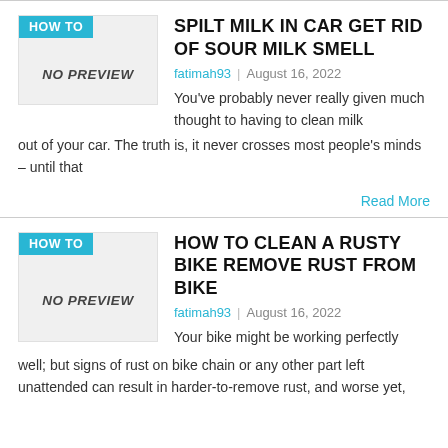[Figure (other): Article thumbnail placeholder with HOW TO badge and NO PREVIEW text]
SPILT MILK IN CAR GET RID OF SOUR MILK SMELL
fatimah93 | August 16, 2022
You've probably never really given much thought to having to clean milk out of your car. The truth is, it never crosses most people's minds – until that
Read More
[Figure (other): Article thumbnail placeholder with HOW TO badge and NO PREVIEW text]
HOW TO CLEAN A RUSTY BIKE REMOVE RUST FROM BIKE
fatimah93 | August 16, 2022
Your bike might be working perfectly well; but signs of rust on bike chain or any other part left unattended can result in harder-to-remove rust, and worse yet,